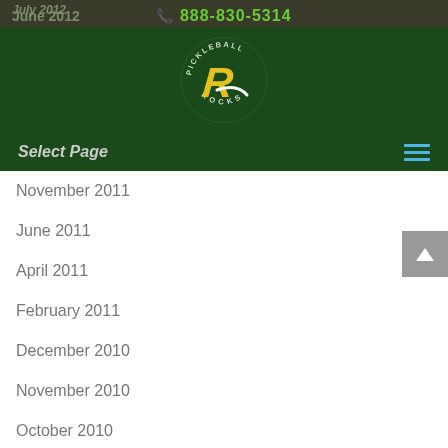July 2012
📞 888-830-5314
June 2012
[Figure (logo): Pickleball Rocks logo — circular text reading PICKLEBALL ROCKS around a stylized yellow R with a white swoosh on dark green background]
Select Page
November 2011
June 2011
April 2011
February 2011
December 2010
November 2010
October 2010
September 2010